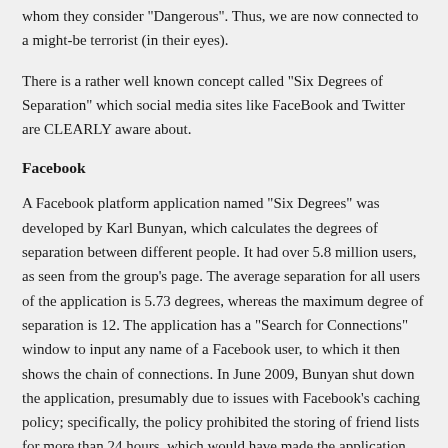whom they consider “Dangerous”. Thus, we are now connected to a might-be terrorist (in their eyes).
There is a rather well known concept called “Six Degrees of Separation” which social media sites like FaceBook and Twitter are CLEARLY aware about.
Facebook
A Facebook platform application named “Six Degrees” was developed by Karl Bunyan, which calculates the degrees of separation between different people. It had over 5.8 million users, as seen from the group’s page. The average separation for all users of the application is 5.73 degrees, whereas the maximum degree of separation is 12. The application has a “Search for Connections” window to input any name of a Facebook user, to which it then shows the chain of connections. In June 2009, Bunyan shut down the application, presumably due to issues with Facebook’s caching policy; specifically, the policy prohibited the storing of friend lists for more than 24 hours, which would have made the application inaccurate.[24] A new version of the application became available at Six Degrees after Karl Bunyan gave